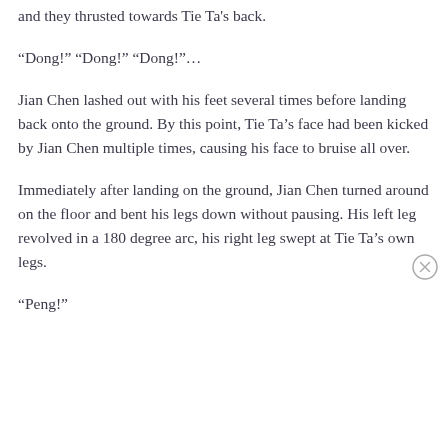and they thrusted towards Tie Ta's back.
“Dong!” “Dong!” “Dong!”…
Jian Chen lashed out with his feet several times before landing back onto the ground. By this point, Tie Ta’s face had been kicked by Jian Chen multiple times, causing his face to bruise all over.
Immediately after landing on the ground, Jian Chen turned around on the floor and bent his legs down without pausing. His left leg revolved in a 180 degree arc, his right leg swept at Tie Ta’s own legs.
“Peng!”